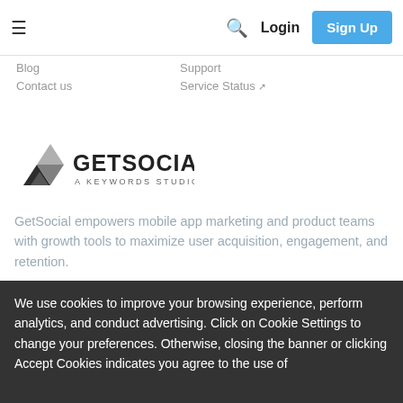≡  🔍  Login  Sign Up
Blog
Contact us
Support
Service Status ↗
[Figure (logo): GetSocial logo — triangle/gem icon with GETSOCIAL wordmark and 'A KEYWORDS STUDIO' subtitle]
GetSocial empowers mobile app marketing and product teams with growth tools to maximize user acquisition, engagement, and retention.
LEGAL
GDPR
[Figure (illustration): Four circular social media icon buttons: GitHub, Twitter, LinkedIn, Facebook]
We use cookies to improve your browsing experience, perform analytics, and conduct advertising. Click on Cookie Settings to change your preferences. Otherwise, closing the banner or clicking Accept Cookies indicates you agree to the use of